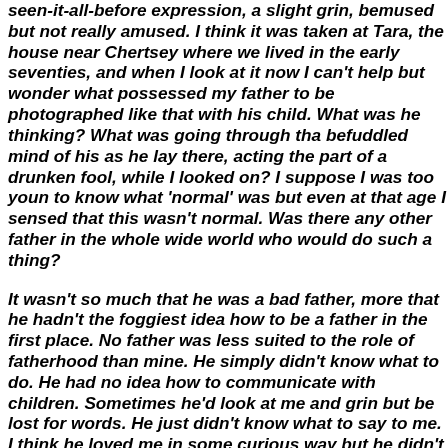seen-it-all-before expression, a slight grin, bemused but not really amused. I think it was taken at Tara, the house near Chertsey where we lived in the early seventies, and when I look at it now I can't help but wonder what possessed my father to be photographed like that with his child. What was he thinking? What was going through that befuddled mind of his as he lay there, acting the part of a drunken fool, while I looked on? I suppose I was too young to know what 'normal' was but even at that age I sensed that this wasn't normal. Was there any other father in the whole wide world who would do such a thing?
It wasn't so much that he was a bad father, more that he hadn't the foggiest idea how to be a father in the first place. No father was less suited to the role of fatherhood than mine. He simply didn't know what to do. He had no idea how to communicate with children. Sometimes he'd look at me and grin but be lost for words. He just didn't know what to say to me. I think he loved me in some curious way but he didn't know how to show it. It was almost as if he was embarrassed to be affectionate towards me in the normal way that parents are with their